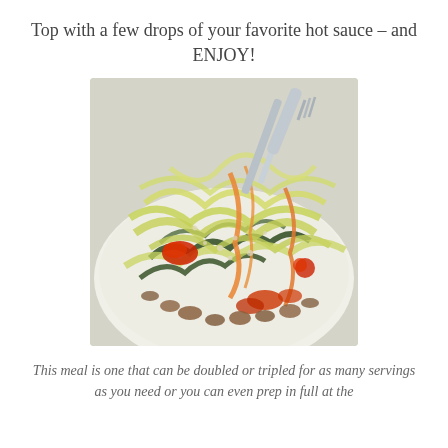Top with a few drops of your favorite hot sauce – and ENJOY!
[Figure (photo): A bowl of zucchini noodles (zoodles) topped with ground meat, vegetables, tomatoes, and hot sauce, with tongs/fork visible at the top right.]
This meal is one that can be doubled or tripled for as many servings as you need or you can even prep in full at the